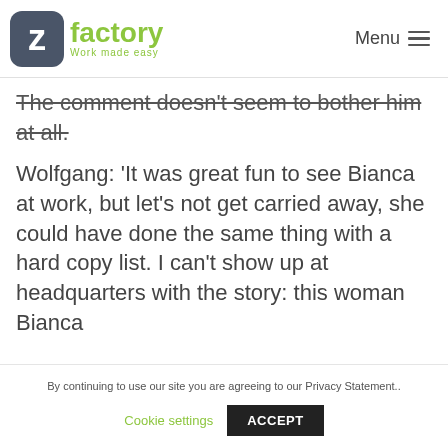zfactory — Work made easy | Menu
The comment doesn't seem to bother him at all.
Wolfgang: 'It was great fun to see Bianca at work, but let's not get carried away, she could have done the same thing with a hard copy list. I can't show up at headquarters with the story: this woman Bianca
By continuing to use our site you are agreeing to our Privacy Statement..
Cookie settings
ACCEPT